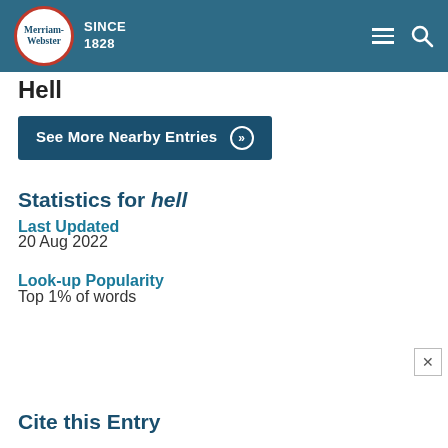Merriam-Webster SINCE 1828
Hell
See More Nearby Entries »
Statistics for hell
Last Updated
20 Aug 2022
Look-up Popularity
Top 1% of words
Cite this Entry